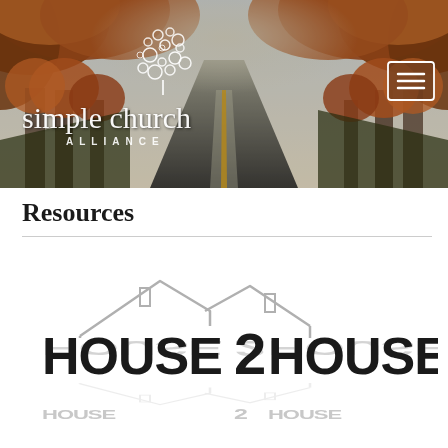[Figure (photo): Website header banner showing an autumn road lined with orange trees, with the Simple Church Alliance logo on the left (white circles/bubbles forming a tree shape above 'simple church' in white serif text, 'ALLIANCE' in spaced caps below) and a hamburger menu button in the upper right corner.]
Resources
[Figure (logo): House2House logo: outline of two house rooftops above bold black text reading 'HOUSE2HOUSE' with a mirror reflection of the text and house outlines below in light gray.]